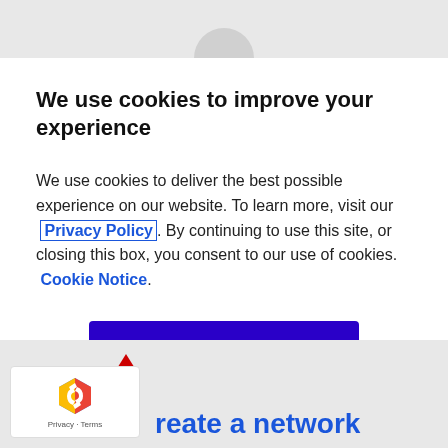We use cookies to improve your experience
We use cookies to deliver the best possible experience on our website. To learn more, visit our  Privacy Policy. By continuing to use this site, or closing this box, you consent to our use of cookies.  Cookie Notice.
Accept
reate a network